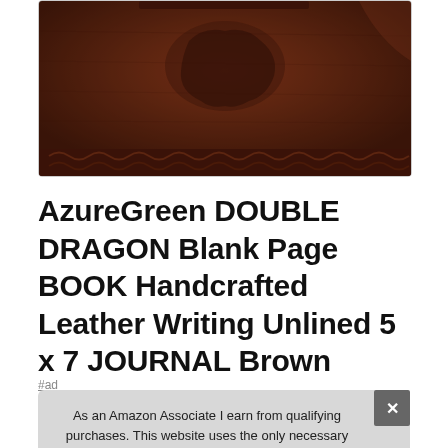[Figure (photo): Close-up of a dark brown handcrafted leather journal cover with embossed double dragon design and decorative border stitching]
AzureGreen DOUBLE DRAGON Blank Page BOOK Handcrafted Leather Writing Unlined 5 x 7 JOURNAL Brown
#ad
As an Amazon Associate I earn from qualifying purchases. This website uses the only necessary cookies to ensure you get the best experience on our website. More information